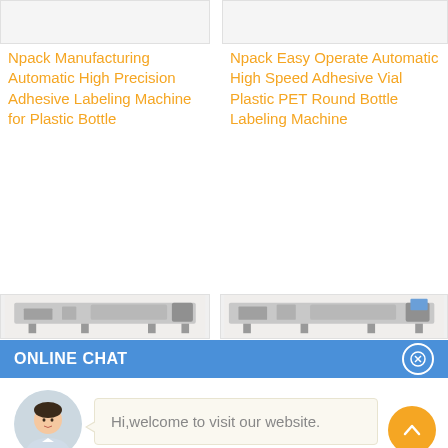[Figure (photo): Top partial image placeholder for left product (Npack labeling machine), cropped at top]
[Figure (photo): Top partial image placeholder for right product (Npack adhesive vial labeling machine), cropped at top]
Npack Manufacturing Automatic High Precision Adhesive Labeling Machine for Plastic Bottle
Npack Easy Operate Automatic High Speed Adhesive Vial Plastic PET Round Bottle Labeling Machine
[Figure (photo): Industrial labeling machine product image, left column, bottom row]
[Figure (photo): Industrial labeling machine product image, right column, bottom row]
ONLINE CHAT
[Figure (photo): Avatar photo of customer service representative named Cilina]
Cilina
Hi,welcome to visit our website.